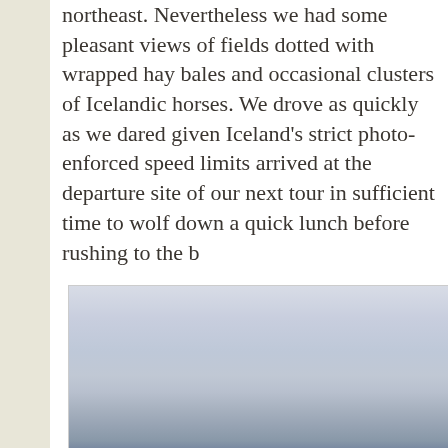northeast. Nevertheless we had some pleasant views of fields dotted with wrapped hay bales and occasional clusters of Icelandic horses. We drove as quickly as we dared given Iceland's strict photo-enforced speed limits arrived at the departure site of our next tour in sufficient time to wolf down a quick lunch before rushing to the b
[Figure (photo): A landscape photo showing an overcast, grey sky over what appears to be a flat, misty Icelandic terrain. The image is washed out with light greys and pale blues.]